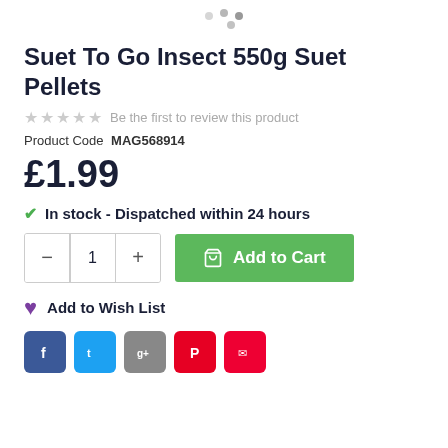[Figure (other): Loading spinner dots at top center of page]
Suet To Go Insect 550g Suet Pellets
★★★★★ Be the first to review this product
Product Code  MAG568914
£1.99
✓ In stock - Dispatched within 24 hours
− 1 + Add to Cart
Add to Wish List
[Figure (other): Social sharing icons: Facebook, Twitter, Google+, Pinterest, Email]